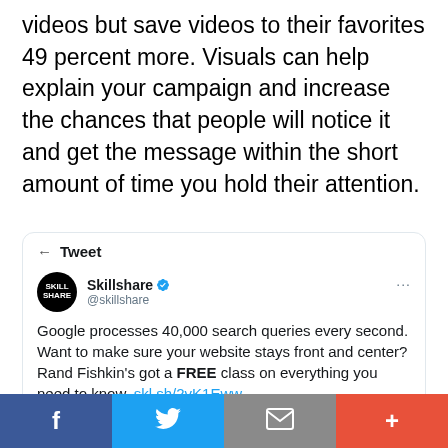videos but save videos to their favorites 49 percent more. Visuals can help explain your campaign and increase the chances that people will notice it and get the message within the short amount of time you hold their attention.
[Figure (screenshot): Tweet from Skillshare (@skillshare) saying: 'Google processes 40,000 search queries every second. Want to make sure your website stays front and center? Rand Fishkin's got a FREE class on everything you need to know. skl.sh/2vK1Eww' with a partial image of a person below.]
Facebook | Twitter | Email | Plus (social share bar)